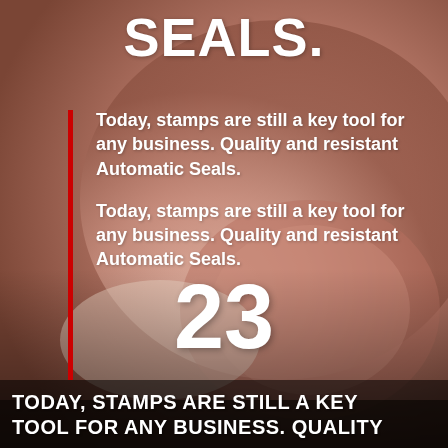[Figure (photo): Close-up macro photo of a rubber stamp seal impression on a pale surface, pinkish/skin-toned background]
SEALS.
Today, stamps are still a key tool for any business. Quality and resistant Automatic Seals.
Today, stamps are still a key tool for any business. Quality and resistant Automatic Seals.
23
TODAY, STAMPS ARE STILL A KEY TOOL FOR ANY BUSINESS. QUALITY